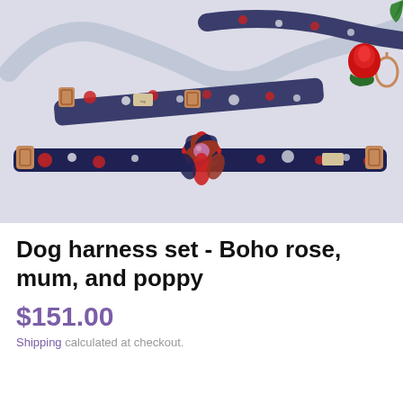[Figure (photo): Floral dog harness set with Boho rose, mum and poppy pattern, displayed on a white/grey surface. Includes harness straps with rose gold buckles and clasps in navy/blue floral fabric with red roses and white flowers, a collar with a large fabric flower embellishment with a pink centre bead, and a leash. A red rose bud is also placed in the top right area.]
Dog harness set - Boho rose, mum, and poppy
$151.00
Shipping calculated at checkout.